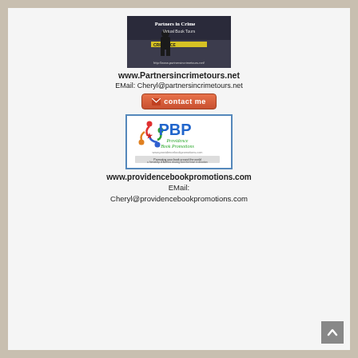[Figure (logo): Partners in Crime Virtual Book Tours logo image showing a person at a crime scene with police tape, and URL http://www.partnersincrimetours.net/]
www.Partnersincrimetours.net
EMail: Cheryl@partnersincrimetours.net
[Figure (other): Contact me button with envelope icon]
[Figure (logo): PBP Providence Book Promotions logo with colorful figures and text www.providencebookpromotions.com]
www.providencebookpromotions.com
EMail:
Cheryl@providencebookpromotions.com